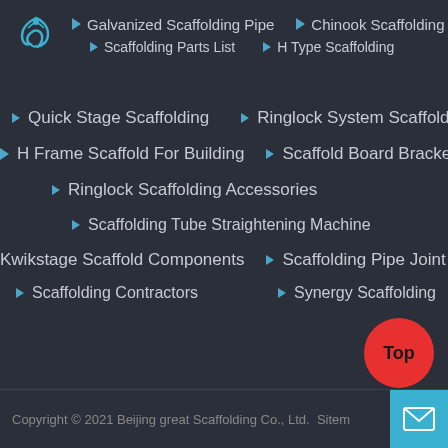Galvanized Scaffolding Pipe | Chinook Scaffolding | Scaffolding Parts List | H Type Scaffolding
Quick Stage Scaffolding
Ringlock System Scaffolding
H Frame Scaffold For Building
Scaffold Board Brackets
Ringlock Scaffolding Accessories
Scaffolding Tube Straightening Machine
Kwikstage Scaffold Components
Scaffolding Pipe Joint Pin
Scaffolding Contractors
Synergy Scaffolding
Copyright © 2021 Beijing great Scaffolding Co., Ltd. Sitem